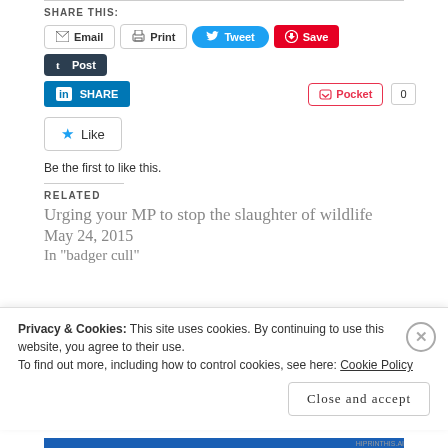SHARE THIS:
[Figure (screenshot): Social share buttons: Email, Print, Tweet, Save, Post, LinkedIn SHARE, Pocket 0]
[Figure (screenshot): Like button with star icon and text 'Be the first to like this.']
RELATED
Urging your MP to stop the slaughter of wildlife
May 24, 2015
In "badger cull"
Privacy & Cookies: This site uses cookies. By continuing to use this website, you agree to their use.
To find out more, including how to control cookies, see here: Cookie Policy
Close and accept